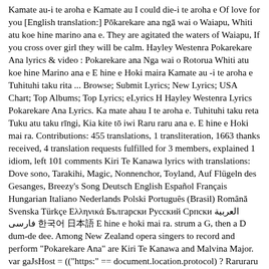Kamate au-i te aroha e Kamate au I could die-i te aroha e Of love for you [English translation:] Pōkarekare ana ngā wai o Waiapu, Whiti atu koe hine marino ana e. They are agitated the waters of Waiapu, If you cross over girl they will be calm. Hayley Westenra Pokarekare Ana lyrics & video : Pokarekare ana Nga wai o Rotorua Whiti atu koe hine Marino ana e E hine e Hoki maira Kamate au -i te aroha e Tuhituhi taku rita ... Browse; Submit Lyrics; New Lyrics; USA Chart; Top Albums; Top Lyrics; eLyrics H Hayley Westenra Lyrics Pokarekare Ana Lyrics. Ka mate ahau I te aroha e. Tuhituhi taku reta Tuku atu taku rīngi, Kia kite tō iwi Raru raru ana e. E hine e Hoki mai ra. Contributions: 455 translations, 1 transliteration, 1663 thanks received, 4 translation requests fulfilled for 3 members, explained 1 idiom, left 101 comments Kiri Te Kanawa lyrics with translations: Dove sono, Tarakihi, Magic, Nonnenchor, Toyland, Auf Flügeln des Gesanges, Breezy's Song Deutsch English Español Français Hungarian Italiano Nederlands Polski Português (Brasil) Română Svenska Türkçe Ελληνικά Български Русский Српски العربية فارسی 한국어 日本語 E hine e hoki mai ra. strum a G, then a D dum-de dee. Among New Zealand opera singers to record and perform "Pokarekare Ana" are Kiri Te Kanawa and Malvina Major. var gaJsHost = (("https:" == document.location.protocol) ? Raruraru ana e. E hine, hoki mai ra. Claims for the authorship of the waiata aroha are examined, and Kiwis famous and lesser known reflect on the song's place in the culture. Aroha e is pronounced "ah RAW ha AIR" Hayley Westenra Pokarekare Ana song about this is...